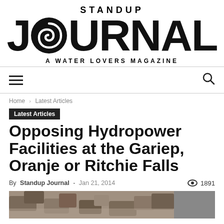STANDUP JOURNAL — A WATER LOVERS MAGAZINE
Home › Latest Articles
Latest Articles
Opposing Hydropower Facilities at the Gariep, Oranje or Ritchie Falls
By Standup Journal - Jan 21, 2014   👁 1891
[Figure (photo): Rocky river scene, likely showing the falls at Gariep/Oranje/Ritchie Falls]